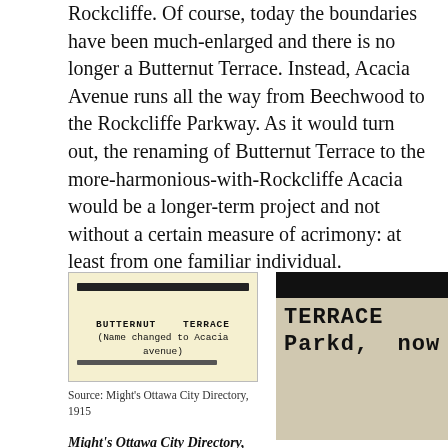Rockcliffe. Of course, today the boundaries have been much-enlarged and there is no longer a Butternut Terrace. Instead, Acacia Avenue runs all the way from Beechwood to the Rockcliffe Parkway. As it would turn out, the renaming of Butternut Terrace to the more-harmonious-with-Rockcliffe Acacia would be a longer-term project and not without a certain measure of acrimony: at least from one familiar individual.
[Figure (photo): Scanned directory entry showing 'BUTTERNUT TERRACE (Name changed to Acacia avenue)' from Might's Ottawa City Directory 1915, on a yellowed background with dark bars.]
Source: Might's Ottawa City Directory, 1915
[Figure (photo): Scanned directory entry showing 'TERRACE Parkd, now' in bold typewriter font on a beige background with a dark bar at top.]
Might's Ottawa City Directory, 1949. Notice that it's once again listed as part of Acacia Ave.
Might's Ottawa City Directory, 1915 is the first to indicate that the name of